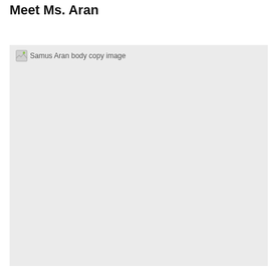Meet Ms. Aran
[Figure (photo): Samus Aran body copy image — broken image placeholder on light gray background]